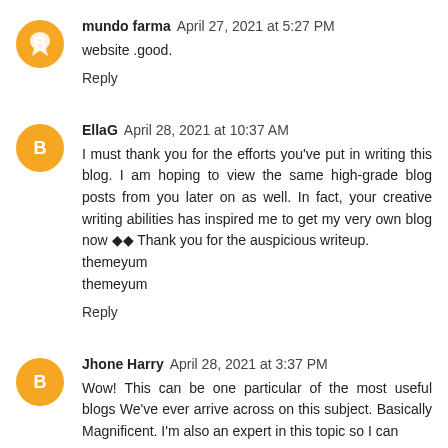mundo farma April 27, 2021 at 5:27 PM
website .good.
Reply
EllaG April 28, 2021 at 10:37 AM
I must thank you for the efforts you've put in writing this blog. I am hoping to view the same high-grade blog posts from you later on as well. In fact, your creative writing abilities has inspired me to get my very own blog now ◆◆ Thank you for the auspicious writeup.
themeyum
themeyum
Reply
Jhone Harry April 28, 2021 at 3:37 PM
Wow! This can be one particular of the most useful blogs We've ever arrive across on this subject. Basically Magnificent. I'm also an expert in this topic so I can